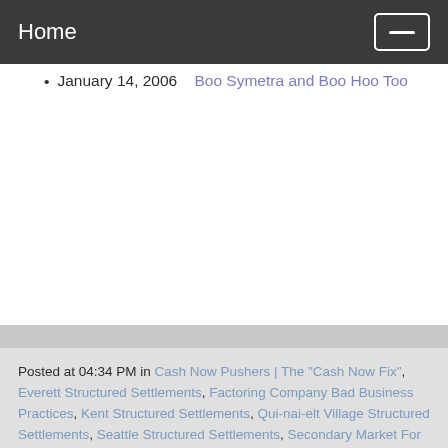Home
January 14, 2006  Boo Symetra and Boo Hoo Too
Posted at 04:34 PM in Cash Now Pushers | The "Cash Now Fix", Everett Structured Settlements, Factoring Company Bad Business Practices, Kent Structured Settlements, Qui-nai-elt Village Structured Settlements, Seattle Structured Settlements, Secondary Market For Structured Settlement Payment Rights, Settlement Planner Puffery, Spokane Structured Settlements, Structured Settlement Factoring, Structured Settlement Factoring News, Structured Settlement Industry News,